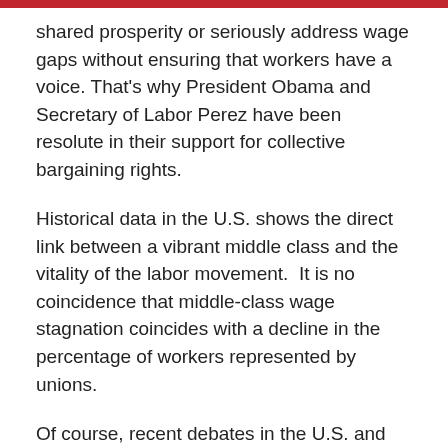shared prosperity or seriously address wage gaps without ensuring that workers have a voice. That's why President Obama and Secretary of Labor Perez have been resolute in their support for collective bargaining rights.
Historical data in the U.S. shows the direct link between a vibrant middle class and the vitality of the labor movement. It is no coincidence that middle-class wage stagnation coincides with a decline in the percentage of workers represented by unions.
Of course, recent debates in the U.S. and worldwide demonstrate that it will be important for the OECD to communicate to the public and policy-makers not just the benefits to workers of promoting these strategies, but also the benefits to employers and the economy as a whole.